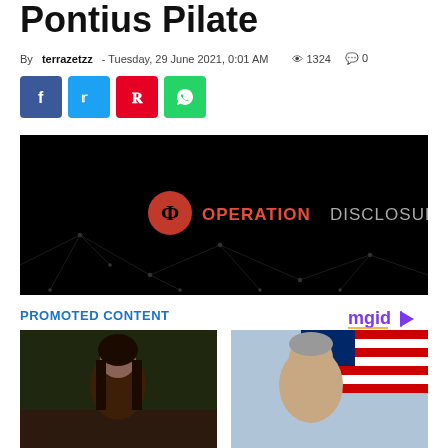Pontius Pilate
By terrazetzz - Tuesday, 29 June 2021, 0:01 AM   1324   0
[Figure (other): Social share buttons: Facebook (blue), Twitter (cyan), Pinterest (red), WhatsApp (green)]
[Figure (other): Operation Disclosure banner image on black background with network/dots graphic and logo]
PROMOTED CONTENT
[Figure (other): mgid logo in purple with play icon]
[Figure (photo): Left thumbnail: woman with long dark hair, outdoor background]
[Figure (photo): Right thumbnail: older man in front of American flag]